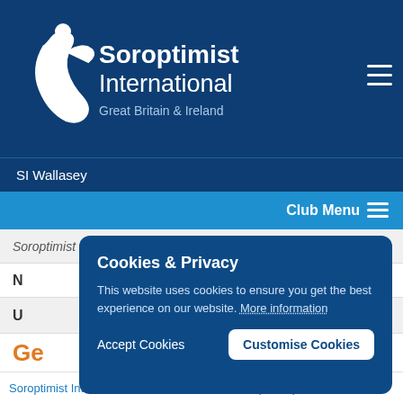[Figure (logo): Soroptimist International Great Britain & Ireland logo with white swoosh figure icon and organization name in white text on dark blue background]
SI Wallasey
Club Menu
Soroptimist Centenary 2021
N
U
Ge
Cookies & Privacy
This website uses cookies to ensure you get the best experience on our website. More information
Accept Cookies
Customise Cookies
Soroptimist International Great Britain & Ireland (SIGBI)